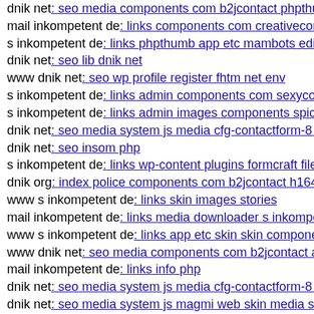dnik net: seo media components com b2jcontact phpthumb...
mail inkompetent de: links components com creativeconta...
s inkompetent de: links phpthumb app etc mambots editors...
dnik net: seo lib dnik net
www dnik net: seo wp profile register fhtm net env
s inkompetent de: links admin components com sexyconta...
s inkompetent de: links admin images components spicons...
dnik net: seo media system js media cfg-contactform-8 inc...
dnik net: seo insom php
s inkompetent de: links wp-content plugins formcraft file-u...
dnik org: index police components com b2jcontact h16430...
www s inkompetent de: links skin images stories
mail inkompetent de: links media downloader s inkompete...
www s inkompetent de: links app etc skin skin component...
www dnik net: seo media components com b2jcontact asse...
mail inkompetent de: links info php
dnik net: seo media system js media cfg-contactform-8 inc...
dnik net: seo media system js magmi web skin media syste...
s inkompetent de: links assets libs s inkompetent de
s inkompetent de: links wp-content api skin api dnik net
dnik net: seo media system js sites default files v5 php...